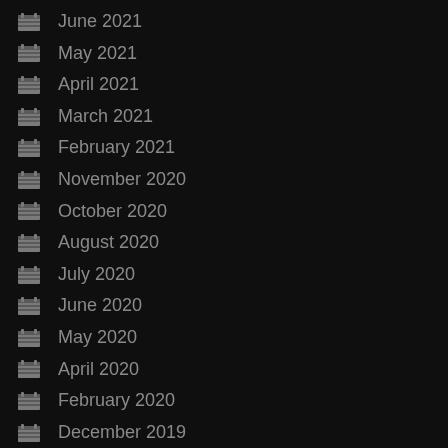June 2021
May 2021
April 2021
March 2021
February 2021
November 2020
October 2020
August 2020
July 2020
June 2020
May 2020
April 2020
February 2020
December 2019
November 2019